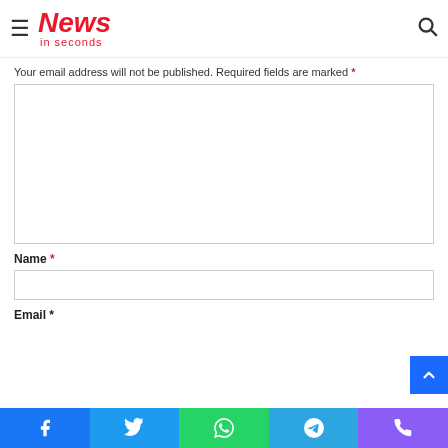News in seconds
Your email address will not be published. Required fields are marked *
Name *
Email *